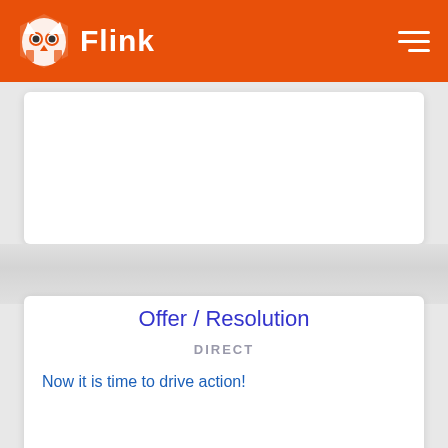Flink
Offer / Resolution
DIRECT
Now it is time to drive action!